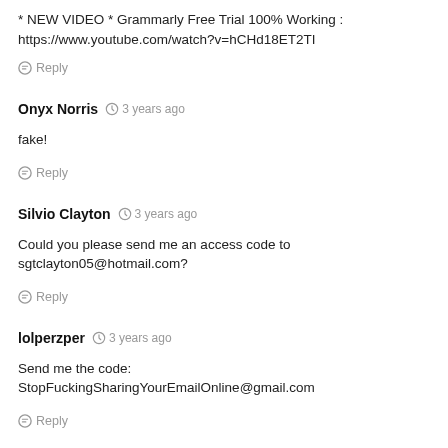* NEW VIDEO * Grammarly Free Trial 100% Working : https://www.youtube.com/watch?v=hCHd18ET2TI
Reply
Onyx Norris  3 years ago
fake!
Reply
Silvio Clayton  3 years ago
Could you please send me an access code to sgtclayton05@hotmail.com?
Reply
lolperzper  3 years ago
Send me the code: StopFuckingSharingYourEmailOnline@gmail.com
Reply